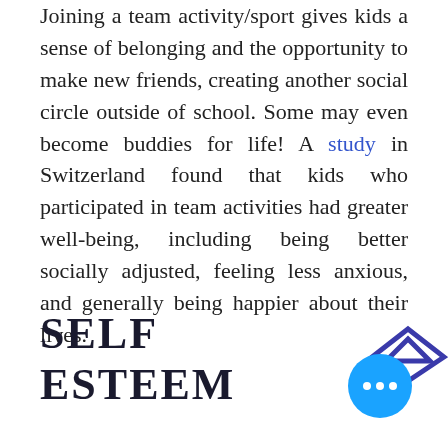Joining a team activity/sport gives kids a sense of belonging and the opportunity to make new friends, creating another social circle outside of school. Some may even become buddies for life! A study in Switzerland found that kids who participated in team activities had greater well-being, including being better socially adjusted, feeling less anxious, and generally being happier about their lives.
SELF ESTEEM
[Figure (illustration): Blue circular button with three white dots (ellipsis/more options button)]